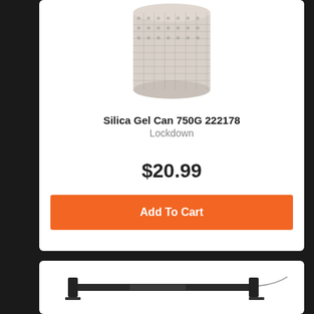[Figure (photo): Silica Gel Can product photo showing a cylindrical canister with mesh texture]
Silica Gel Can 750G 222178
Lockdown
$20.99
Add To Cart
[Figure (photo): Long black rod/bar product photo, possibly a gun cleaning rod or similar accessory]